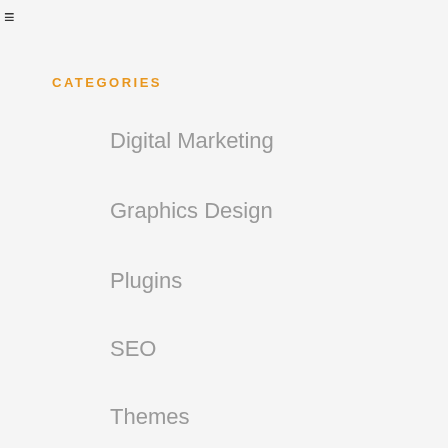CATEGORIES
Digital Marketing
Graphics Design
Plugins
SEO
Themes
CONTACT
Adarshapara, Ambagan, Shyamnagar, Kolkata, West-Bengal, 743127, India
9088463072